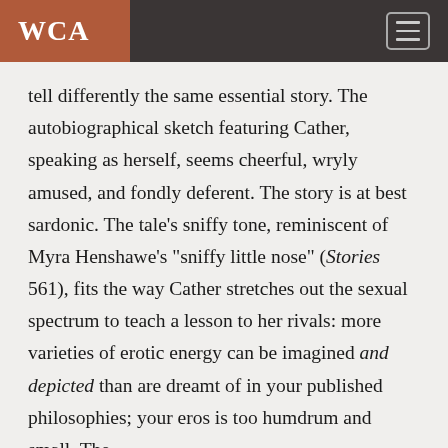WCA
tell differently the same essential story. The autobiographical sketch featuring Cather, speaking as herself, seems cheerful, wryly amused, and fondly deferent. The story is at best sardonic. The tale's sniffy tone, reminiscent of Myra Henshawe's "sniffy little nose" (Stories 561), fits the way Cather stretches out the sexual spectrum to teach a lesson to her rivals: more varieties of erotic energy can be imagined and depicted than are dreamt of in your published philosophies; your eros is too humdrum and small. The...